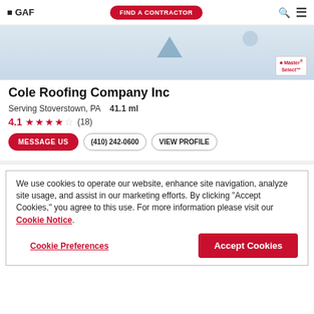GAF | FIND A CONTRACTOR
[Figure (photo): Contractor banner image showing roofing materials with Master Select™ badge in bottom right corner]
Cole Roofing Company Inc
Serving Stoverstown, PA   41.1 ml
4.1 ★★★★☆ (18)
MESSAGE US | (410) 242-0600 | VIEW PROFILE
We use cookies to operate our website, enhance site navigation, analyze site usage, and assist in our marketing efforts. By clicking "Accept Cookies," you agree to this use. For more information please visit our Cookie Notice.
Cookie Preferences | Accept Cookies